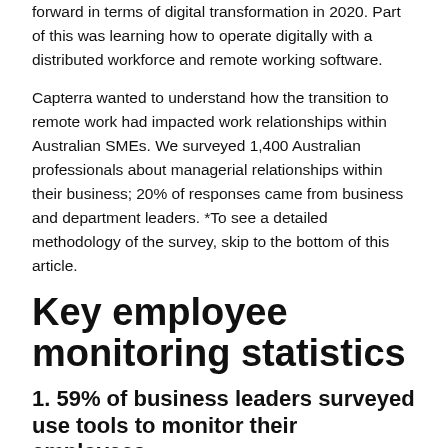forward in terms of digital transformation in 2020. Part of this was learning how to operate digitally with a distributed workforce and remote working software.
Capterra wanted to understand how the transition to remote work had impacted work relationships within Australian SMEs. We surveyed 1,400 Australian professionals about managerial relationships within their business; 20% of responses came from business and department leaders. *To see a detailed methodology of the survey, skip to the bottom of this article.
Key employee monitoring statistics
1. 59% of business leaders surveyed use tools to monitor their employees
While the majority (59%) of business leaders said they use an